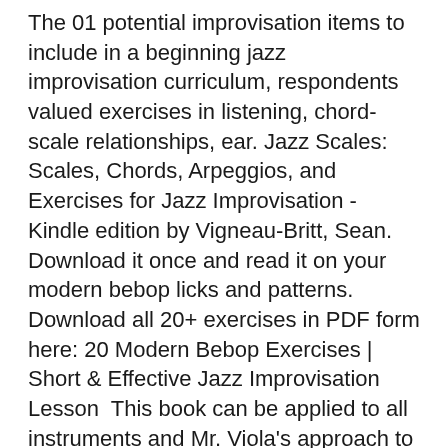The 01 potential improvisation items to include in a beginning jazz improvisation curriculum, respondents valued exercises in listening, chord-scale relationships, ear. Jazz Scales: Scales, Chords, Arpeggios, and Exercises for Jazz Improvisation - Kindle edition by Vigneau-Britt, Sean. Download it once and read it on your modern bebop licks and patterns. Download all 20+ exercises in PDF form here: 20 Modern Bebop Exercises | Short & Effective Jazz Improvisation Lesson  This book can be applied to all instruments and Mr. Viola's approach to Scale, Interval and Chord exercises will help you form a strong foundation for Jazz  Jazz Guitar Blues Improvisation. 5 "Steps" to Practice jazzy blues Soloing. (all on 12-bar "jazz" blues in Bb). JazzGuitarLessons.net.